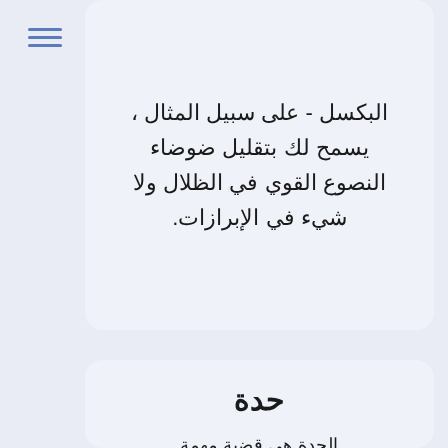[Figure (other): Hamburger menu icon with three horizontal blue lines in the top-left corner]
البكسل - على سبيل المثال ، يسمح لك بتقليل ضوضاء النصوع القوي في الظلال ولا شيء في الإبرازات.
حدة
الحدة هي قضية مهمة للمصورين. بينما نجرب أحيانًا التمويه ، نريد في الغالب أن تكون موضوعاتنا حادة قدر الإمكان. يتمثل الأسلوب القياسي والموثوق في استخدام عدسة جيدة وحامل ثلاثي القوائم. عندما تقوم بضبط ملف